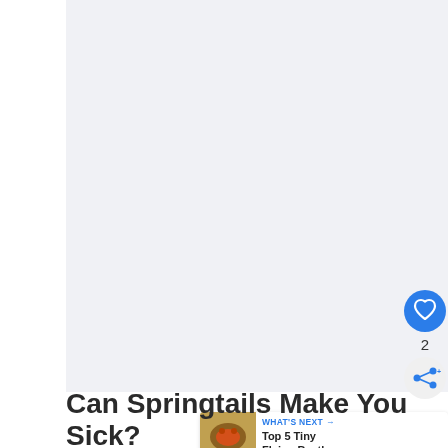[Figure (photo): Large light gray/white placeholder image area for a springtails article]
[Figure (infographic): Blue circular heart/like button UI element with count of 2 and share button below]
[Figure (photo): What's Next thumbnail showing Top 5 Tiny Flying Beetles with a beetle photo]
Can Springtails Make You Sick?